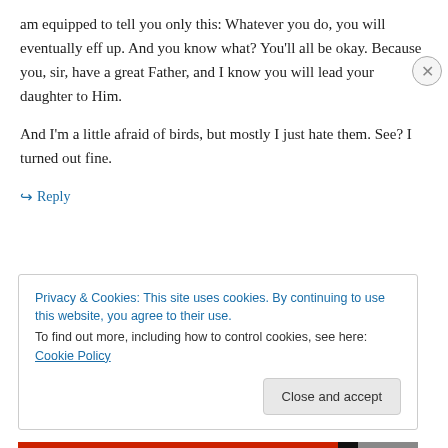am equipped to tell you only this: Whatever you do, you will eventually eff up. And you know what? You'll all be okay. Because you, sir, have a great Father, and I know you will lead your daughter to Him.

And I'm a little afraid of birds, but mostly I just hate them. See? I turned out fine.
↳ Reply
Privacy & Cookies: This site uses cookies. By continuing to use this website, you agree to their use.
To find out more, including how to control cookies, see here: Cookie Policy
Close and accept